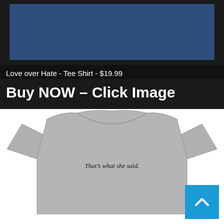[Figure (photo): Top portion of a navy blue t-shirt product photo on dark background]
Love over Hate - Tee Shirt - $19.99
Buy NOW – Click Image
[Figure (photo): Gray t-shirt with text 'That's what she said.' printed on chest, displayed on white background]
[Figure (other): Blue scroll-to-top button with upward arrow chevron in bottom right corner]